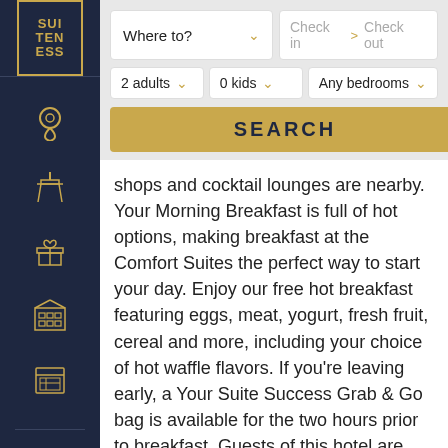[Figure (logo): SUITENESS logo - gold bordered box with text SUI TEN ESS on dark navy sidebar]
[Figure (screenshot): Hotel search interface with Where to? dropdown, Check in / Check out date fields, 2 adults, 0 kids, Any bedrooms dropdowns, and SEARCH button]
shops and cocktail lounges are nearby. Your Morning Breakfast is full of hot options, making breakfast at the Comfort Suites the perfect way to start your day. Enjoy our free hot breakfast featuring eggs, meat, yogurt, fresh fruit, cereal and more, including your choice of hot waffle flavors. If you're leaving early, a Your Suite Success Grab & Go bag is available for the two hours prior to breakfast. Guests of this hotel are invited to enjoy many amenities, including free high-speed Internet access, free local calls, free coffee and free weekday newspaper. Guests will also enjoy